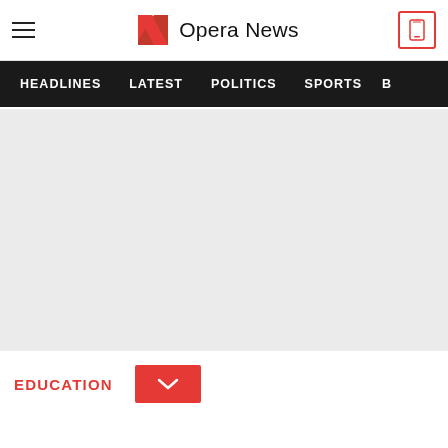Opera News
[Figure (screenshot): Opera News website header with hamburger menu on the left, Opera News logo in the center (red N icon and text), and a phone icon button on the right]
HEADLINES  LATEST  POLITICS  SPORTS  B
[Figure (photo): Large light grey placeholder image area]
EDUCATION
[Figure (other): Red button with white downward chevron/arrow icon]